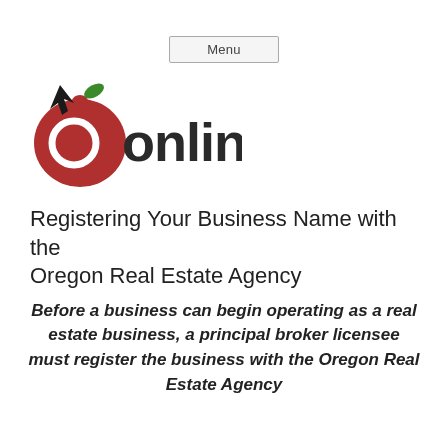[Figure (logo): OnlineEd logo with apple graphic and navigation cursor, text reads 'OnlineEd' with 'online' in dark gray/black and 'Ed' in dark red]
Registering Your Business Name with the Oregon Real Estate Agency
Before a business can begin operating as a real estate business, a principal broker licensee must register the business with the Oregon Real Estate Agency